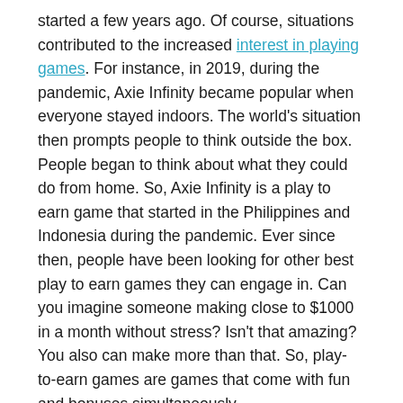started a few years ago. Of course, situations contributed to the increased interest in playing games. For instance, in 2019, during the pandemic, Axie Infinity became popular when everyone stayed indoors. The world's situation then prompts people to think outside the box. People began to think about what they could do from home. So, Axie Infinity is a play to earn game that started in the Philippines and Indonesia during the pandemic. Ever since then, people have been looking for other best play to earn games they can engage in. Can you imagine someone making close to $1000 in a month without stress? Isn't that amazing? You also can make more than that. So, play-to-earn games are games that come with fun and bonuses simultaneously.
Now, let's talk about crazy kings!